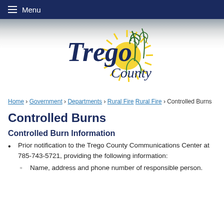Menu
[Figure (logo): Trego County logo with wheat stalks and sun rays, text reads 'Trego County']
Home › Government › Departments › Rural Fire › Controlled Burns
Controlled Burns
Controlled Burn Information
Prior notification to the Trego County Communications Center at 785-743-5721, providing the following information:
Name, address and phone number of responsible person.